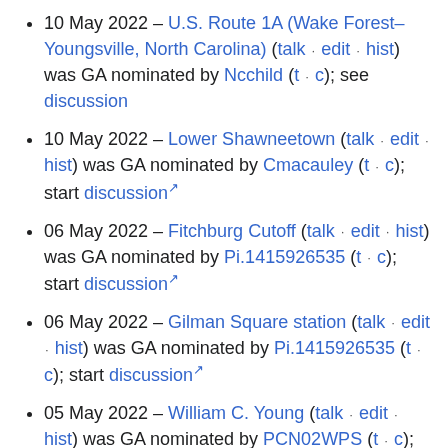10 May 2022 – U.S. Route 1A (Wake Forest–Youngsville, North Carolina) (talk · edit · hist) was GA nominated by Ncchild (t · c); see discussion
10 May 2022 – Lower Shawneetown (talk · edit · hist) was GA nominated by Cmacauley (t · c); start discussion
06 May 2022 – Fitchburg Cutoff (talk · edit · hist) was GA nominated by Pi.1415926535 (t · c); start discussion
06 May 2022 – Gilman Square station (talk · edit · hist) was GA nominated by Pi.1415926535 (t · c); start discussion
05 May 2022 – William C. Young (talk · edit · hist) was GA nominated by PCN02WPS (t · c); start discussion
05 May 2022 – William Proxmire (talk · edit · hist) was